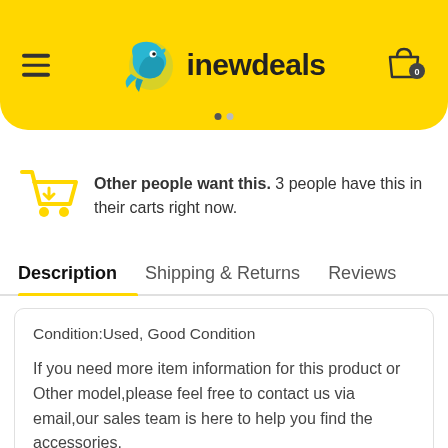inewdeals
Other people want this. 3 people have this in their carts right now.
Description   Shipping & Returns   Reviews
Condition:Used, Good Condition

If you need more item information for this product or Other model,please feel free to contact us via email,our sales team is here to help you find the accessories.